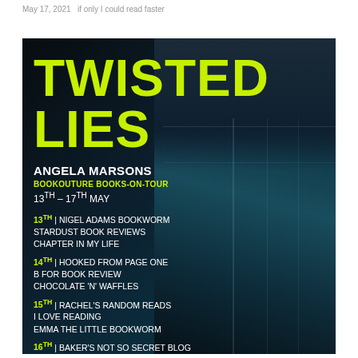May 17, 2021   if only I could read faster
[Figure (infographic): Book tour promotional poster for 'Twisted Lies' by Angela Marsons. Dark teal background with industrial building. Lime green large title text. Lists Bookouture Books-On-Tour dates 13th-17th May with host blogs per day.]
TWISTED LIES
ANGELA MARSONS
BOOKOUTURE BOOKS-ON-TOUR
13TH – 17TH MAY
13TH | NIGEL ADAMS BOOKWORM
STARDUST BOOK REVIEWS
CHAPTER IN MY LIFE
14TH | HOOKED FROM PAGE ONE
B FOR BOOK REVIEW
CHOCOLATE 'N' WAFFLES
15TH | RACHEL'S RANDOM READS
I LOVE READING
EMMA THE LITTLE BOOKWORM
16TH | BAKER'S NOT SO SECRET BLOG
JEN MED'S BOOK REVIEWS